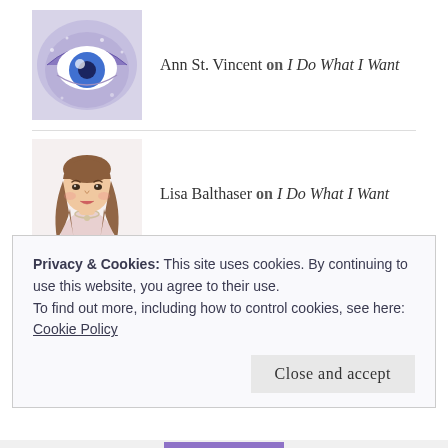Ann St. Vincent on I Do What I Want
Lisa Balthaser on I Do What I Want
Dating After 40 on Facebook
Privacy & Cookies: This site uses cookies. By continuing to use this website, you agree to their use.
To find out more, including how to control cookies, see here:
Cookie Policy
Close and accept